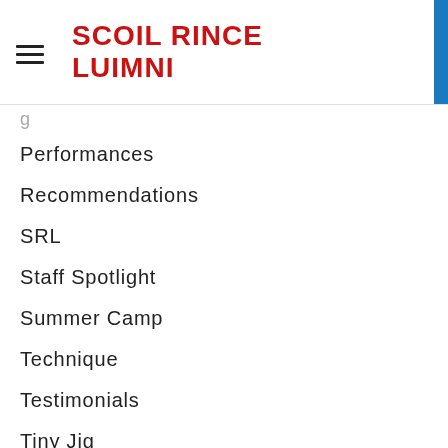SCOIL RINCE LUIMNI
Performances
Recommendations
SRL
Staff Spotlight
Summer Camp
Technique
Testimonials
Tiny Jig
Yoga
ARCHIVES
August 2022